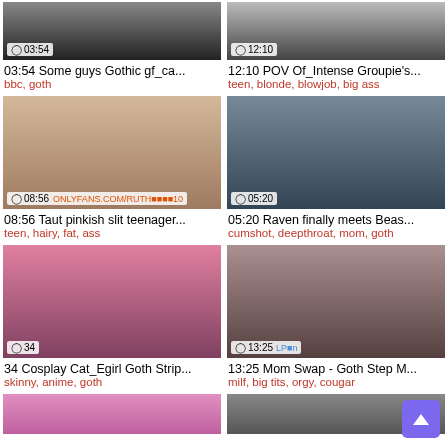[Figure (screenshot): Video thumbnail grid - adult video site listing with 6 visible video thumbnails in 2-column layout]
03:54 Some guys Gothic gf_ca...
bbc, goth
12:10 POV Of_Intense Groupie's...
teen, blonde, blowjob, big ass
08:56 Taut pinkish slit teenager...
teen, hairy, fat, ass
05:20 Raven finally meets Beas...
cumshot, deepthroat, mom, goth
34 Cosplay Cat_Egirl Goth Strip...
skinny, anime, goth
13:25 Mom Swap - Goth Step M...
milf, big tits, orgy, cougar